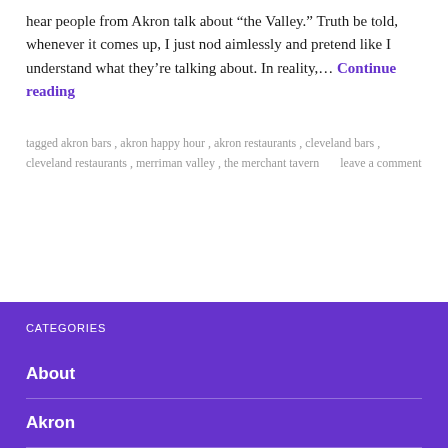hear people from Akron talk about “the Valley.” Truth be told, whenever it comes up, I just nod aimlessly and pretend like I understand what they’re talking about. In reality,… Continue reading
tagged akron bars , akron happy hour , akron restaurants , cleveland bars , cleveland restaurants , merriman valley , the merchant tavern      leave a comment
CATEGORIES
About
Akron